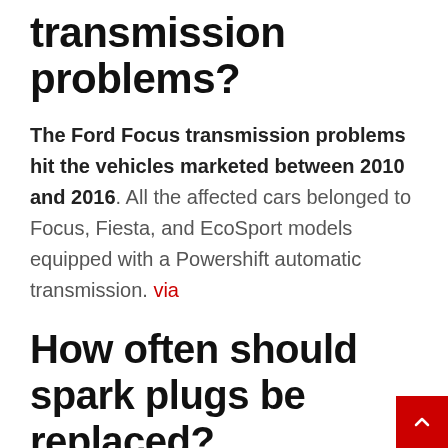transmission problems?
The Ford Focus transmission problems hit the vehicles marketed between 2010 and 2016. All the affected cars belonged to Focus, Fiesta, and EcoSport models equipped with a Powershift automatic transmission. via
How often should spark plugs be replaced?
Spark plugs are designed for long-term durability, meaning that they only need to be replaced between every 80,000 and 100,000 miles. However, they can become damaged